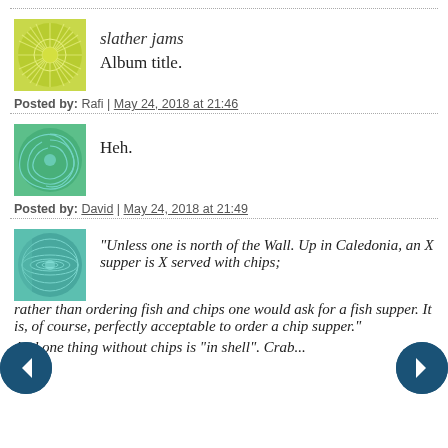slather jams
Album title.
Posted by: Rafi | May 24, 2018 at 21:46
Heh.
Posted by: David | May 24, 2018 at 21:49
“Unless one is north of the Wall. Up in Caledonia, an X supper is X served with chips; rather than ordering fish and chips one would ask for a fish supper. It is, of course, perfectly acceptable to order a chip supper.”
And one thing without chips is “in shell”. Crab...